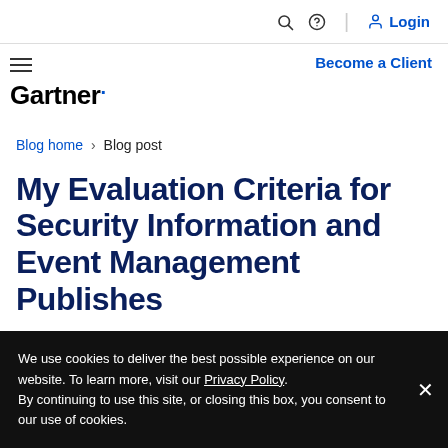Login
Become a Client
Gartner
Blog home > Blog post
My Evaluation Criteria for Security Information and Event Management Publishes
We use cookies to deliver the best possible experience on our website. To learn more, visit our Privacy Policy. By continuing to use this site, or closing this box, you consent to our use of cookies.